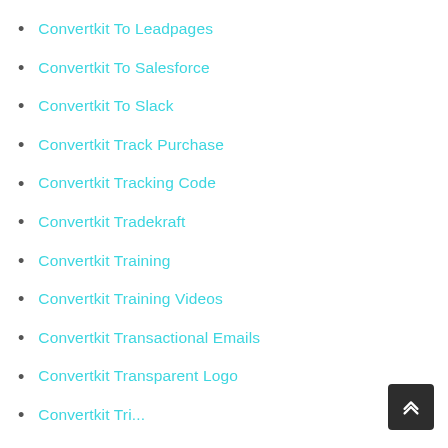Convertkit To Leadpages
Convertkit To Salesforce
Convertkit To Slack
Convertkit Track Purchase
Convertkit Tracking Code
Convertkit Tradekraft
Convertkit Training
Convertkit Training Videos
Convertkit Transactional Emails
Convertkit Transparent Logo
Convertkit Tri...